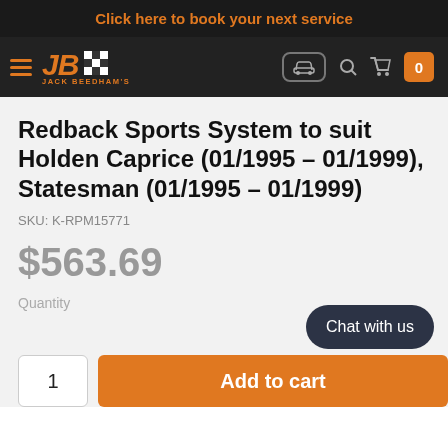Click here to book your next service
[Figure (logo): Jack Beedham's JB logo with checkered flag, navigation bar with car icon, search, cart, and quantity badge 0]
Redback Sports System to suit Holden Caprice (01/1995 - 01/1999), Statesman (01/1995 - 01/1999)
SKU: K-RPM15771
$563.69
Quantity
1
Add to cart
Chat with us